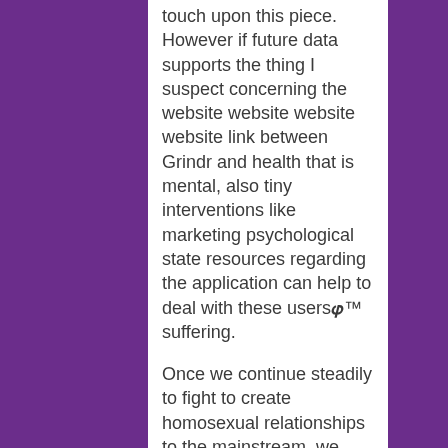touch upon this piece. However if future data supports the thing I suspect concerning the website website website website link between Grindr and health that is mental, also tiny interventions like marketing psychological state resources regarding the application can help to deal with these usersBh™ suffering.
Once we continue steadily to fight to create homosexual relationships to the mainstream, we have to keep close track of Grindr and exactly how it both reflects and impacts homosexual tradition. The bathhouse remains to be. It is now open 24/7, available